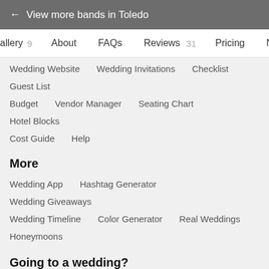← View more bands in Toledo
Gallery 9   About   FAQs   Reviews 31   Pricing   Network
Wedding Website   Wedding Invitations   Checklist   Guest List
Budget   Vendor Manager   Seating Chart   Hotel Blocks
Cost Guide   Help
More
Wedding App   Hashtag Generator   Wedding Giveaways
Wedding Timeline   Color Generator   Real Weddings
Honeymoons
Going to a wedding?
Find a couple's wedding website
Are you a vendor?